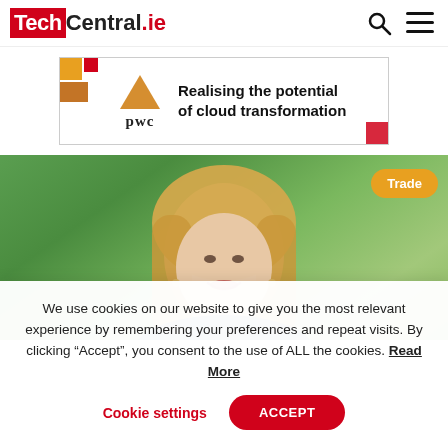TechCentral.ie
[Figure (logo): PwC advertisement banner: PwC logo with coloured squares motif and text 'Realising the potential of cloud transformation']
[Figure (photo): Photo of a blonde woman smiling outdoors with green trees in background. A 'Trade' badge is overlaid in the top-right corner.]
We use cookies on our website to give you the most relevant experience by remembering your preferences and repeat visits. By clicking “Accept”, you consent to the use of ALL the cookies. Read More
Cookie settings   ACCEPT